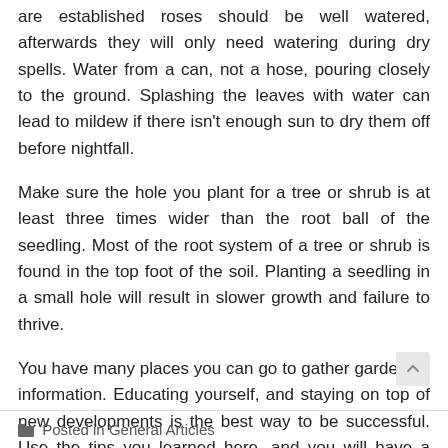are established roses should be well watered, afterwards they will only need watering during dry spells. Water from a can, not a hose, pouring closely to the ground. Splashing the leaves with water can lead to mildew if there isn't enough sun to dry them off before nightfall.
Make sure the hole you plant for a tree or shrub is at least three times wider than the root ball of the seedling. Most of the root system of a tree or shrub is found in the top foot of the soil. Planting a seedling in a small hole will result in slower growth and failure to thrive.
You have many places you can go to gather gardening information. Educating yourself, and staying on top of new developments is the best way to be successful. Use the tips you learned here, and you will have a greener garden in no time….
Posted in General Articles